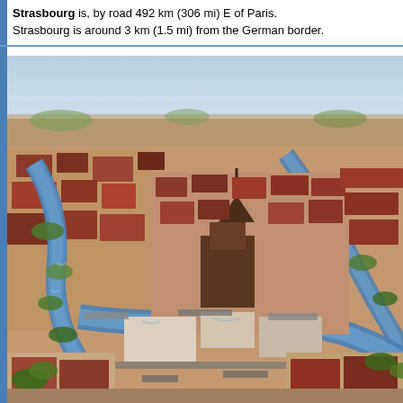Strasbourg is, by road 492 km (306 mi) E of Paris. Strasbourg is around 3 km (1.5 mi) from the German border.
[Figure (photo): Aerial photograph of Strasbourg city center showing densely packed buildings with reddish-orange rooftops, rivers and canals (the Ill river) winding through the city, green tree-lined embankments, bridges, and the historic Grande Île district visible in the center, with the city spreading to the horizon under a hazy sky.]